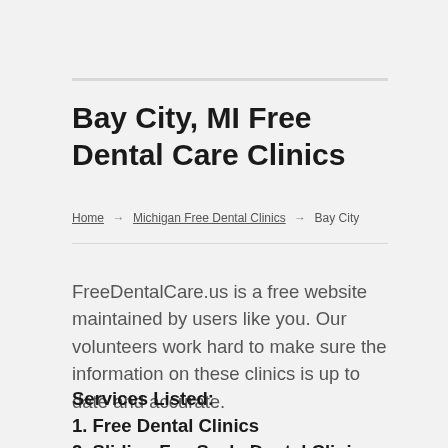Bay City, MI Free Dental Care Clinics
Home → Michigan Free Dental Clinics → Bay City
FreeDentalCare.us is a free website maintained by users like you. Our volunteers work hard to make sure the information on these clinics is up to date and accurate.
Services Listed:
1. Free Dental Clinics
2. Sliding Fee Scale Dental Clinics